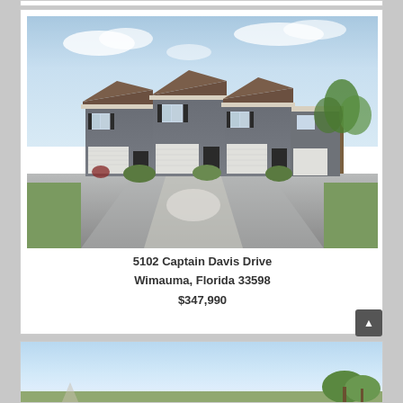[Figure (photo): Top sliver of a previous real estate listing card, partially visible]
[Figure (photo): Exterior rendering of a gray two-story townhouse complex with white garage doors, dark shutters, and palm trees, located at 5102 Captain Davis Drive, Wimauma, Florida]
5102 Captain Davis Drive
Wimauma, Florida 33598
$347,990
[Figure (photo): Partial view of another real estate listing photo showing sky and some greenery/trees at bottom]